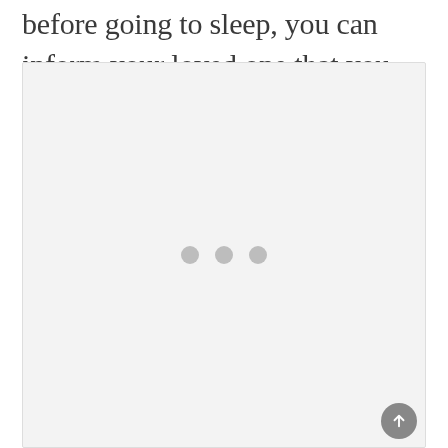before going to sleep, you can inform your loved one that you are ready for contact.
[Figure (other): A light gray placeholder image box with three gray loading dots centered in the middle, indicating an image is loading. A scroll-to-top button is visible in the bottom-right corner.]